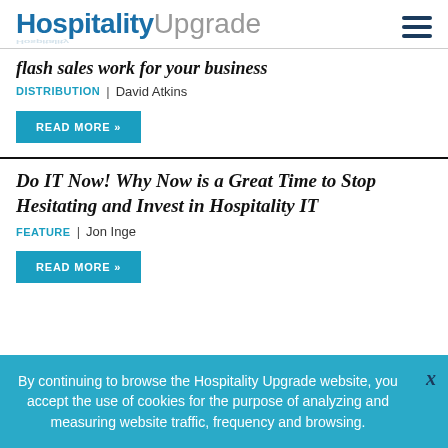Hospitality Upgrade
flash sales work for your business
DISTRIBUTION | David Atkins
READ MORE »
Do IT Now! Why Now is a Great Time to Stop Hesitating and Invest in Hospitality IT
FEATURE | Jon Inge
READ MORE »
By continuing to browse the Hospitality Upgrade website, you accept the use of cookies for the purpose of analyzing and measuring website traffic, frequency and browsing.